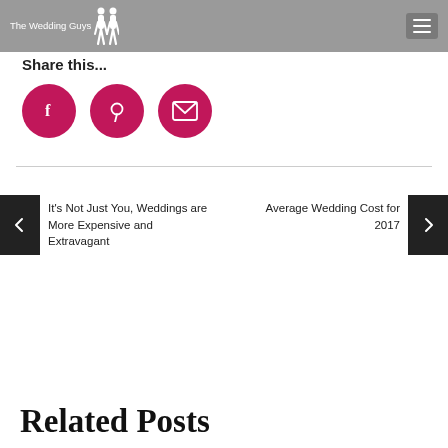The Wedding Guys — navigation header
Share this...
[Figure (infographic): Three crimson circular social share buttons: Facebook (f), Pinterest (p icon), and Email (envelope icon)]
It's Not Just You, Weddings are More Expensive and Extravagant
Average Wedding Cost for 2017
Related Posts